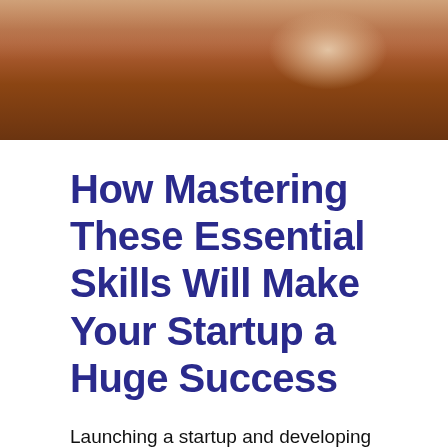[Figure (photo): Cropped photo showing a desk surface with warm brown/orange tones, a document or paper visible at top, suggesting a business or study setting.]
How Mastering These Essential Skills Will Make Your Startup a Huge Success
Launching a startup and developing into a successful, established enterprise is easier said than done. You need a high level of determination,